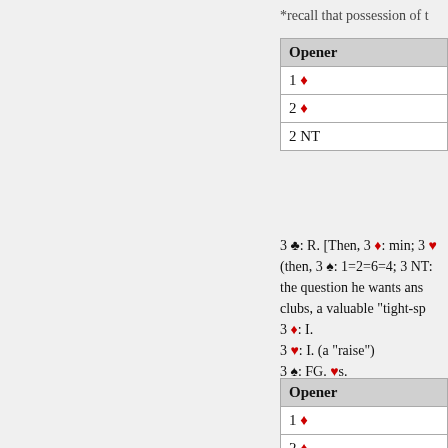*recall that possession of t
| Opener |
| --- |
| 1 ♦ |
| 2 ♦ |
| 2 NT |
3 ♣: R. [Then, 3 ♦: min; 3 ♥... (then, 3 ♠: 1=2=6=4; 3 NT:... the question he wants ans... clubs, a valuable "tight-spa...
3 ♦: I.
3 ♥: I. (a "raise")
3 ♠: FG. ♥s.
3 NT: Bar.
> 3 NT: fancy (♥).
| Opener |
| --- |
| 1 ♦ |
| 2 ♦ |